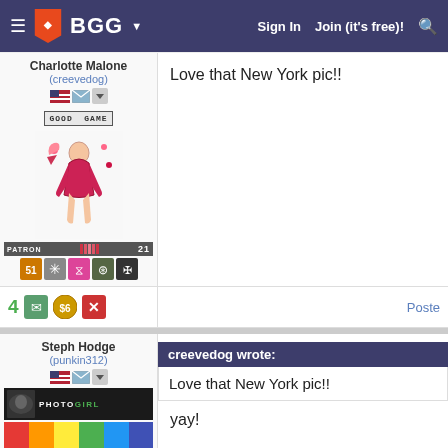BGG — Sign In | Join (it's free)!
Charlotte Malone (creevedog)
Love that New York pic!!
4
Poste
Steph Hodge (punkin312)
creevedog wrote: Love that New York pic!!
yay!